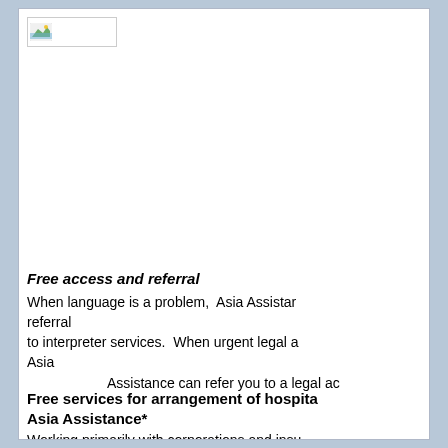[Figure (logo): Small logo image in top-left corner of the document page]
Free access and referral
When language is a problem, Asia Assistance referral to interpreter services. When urgent legal a Asia Assistance can refer you to a legal ac
Free services for arrangement of hospital Asia Assistance*
Working primarily with corporations and insurance Asia Assistance offers value added services comfort